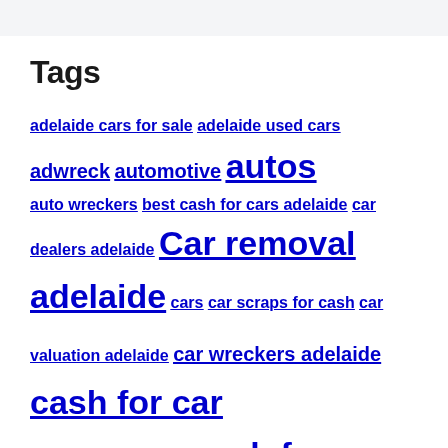Tags
adelaide cars for sale adelaide used cars adwreck automotive autos auto wreckers best cash for cars adelaide car dealers adelaide Car removal adelaide cars car scraps for cash car valuation adelaide car wreckers adelaide cash for car cash for car adelaide cash for